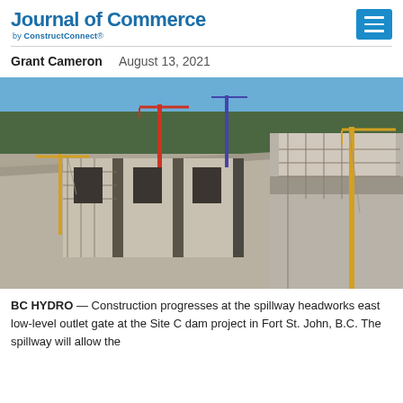Journal of Commerce by ConstructConnect®
Grant Cameron   August 13, 2021
[Figure (photo): Aerial/ground-level photograph of construction progressing at the spillway headworks east low-level outlet gate at the Site C dam project in Fort St. John, B.C. Large concrete structures, yellow cranes and scaffolding are visible against a forested hillside and blue sky.]
BC HYDRO — Construction progresses at the spillway headworks east low-level outlet gate at the Site C dam project in Fort St. John, B.C. The spillway will allow the